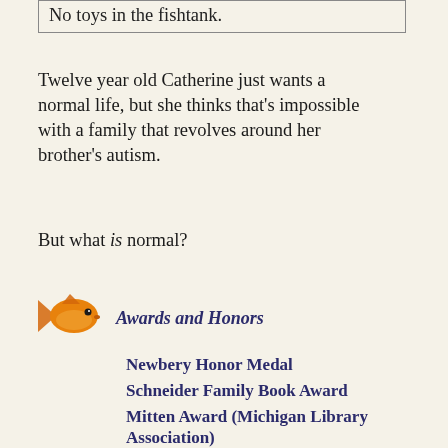No toys in the fishtank.
Twelve year old Catherine just wants a normal life, but she thinks that's impossible with a family that revolves around her brother's autism.
But what is normal?
[Figure (illustration): Small goldfish illustration in orange/gold color facing left]
Awards and Honors
Newbery Honor Medal
Schneider Family Book Award
Mitten Award (Michigan Library Association)
Great Lakes Great Books Award (Michigan)
Maine Student Book Award
Dorothy Canfield Fisher Award (Vermont)
Kentucky Bluegrass Award
Great Stone Face Award (New